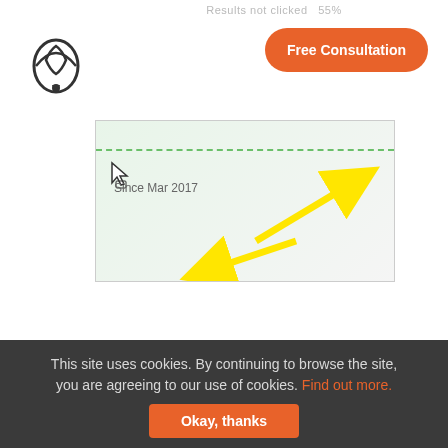[Figure (screenshot): Website screenshot showing a partial analytics or SEO tool interface with 'Since Mar 2017' text, yellow arrow annotations, dashed green border line, and a cursor icon]
Learn More:
I hope you are getting a lot of value out of this blog post.
Do you want to learn more about this topic? Schedule a Free Consultation call with a Single Grain Expert now!
This site uses cookies. By continuing to browse the site, you are agreeing to our use of cookies. Find out more.
Okay, thanks